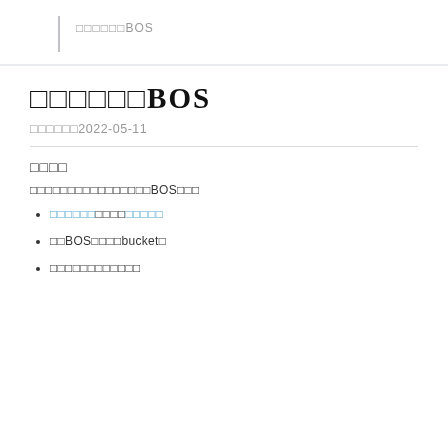□□□□□□BOS
□□□□□□BOS
□□□□□□2022-05-11
□□□□
□□□□□□□□□□□□□□□□BOS□□□
□□□□□□□□□□□□□□
□□BOS□□□□bucket□
□□□□□□□□□□□□